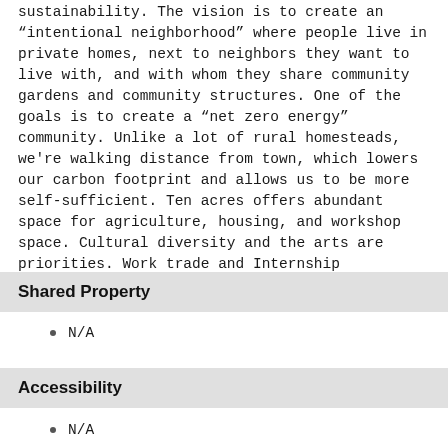sustainability. The vision is to create an “intentional neighborhood” where people live in private homes, next to neighbors they want to live with, and with whom they share community gardens and community structures. One of the goals is to create a “net zero energy” community. Unlike a lot of rural homesteads, we're walking distance from town, which lowers our carbon footprint and allows us to be more self-sufficient. Ten acres offers abundant space for agriculture, housing, and workshop space. Cultural diversity and the arts are priorities. Work trade and Internship opportunities start in the Spring. See website for details.
Shared Property
N/A
Accessibility
N/A